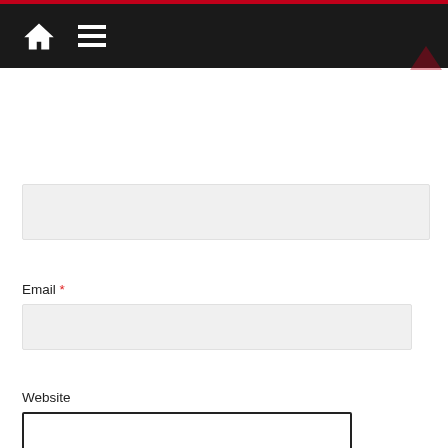[Figure (screenshot): Navigation bar with dark background, red top border, home icon and hamburger menu icon]
Name *
[Figure (other): Empty text input field with light gray background for Name]
Email *
[Figure (other): Empty text input field with light gray background for Email]
Website
[Figure (other): Empty text input field with dark border for Website]
[Figure (other): reCAPTCHA widget with checkbox, I'm not a robot text, and reCAPTCHA logo]